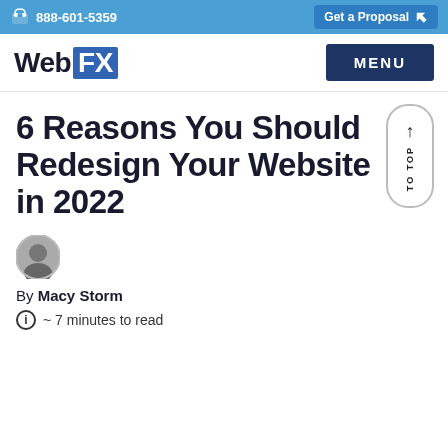888-601-5359 | Get a Proposal
WebFX | MENU
6 Reasons You Should Redesign Your Website in 2022
[Figure (photo): Author avatar photo of Macy Storm]
By Macy Storm
~ 7 minutes to read